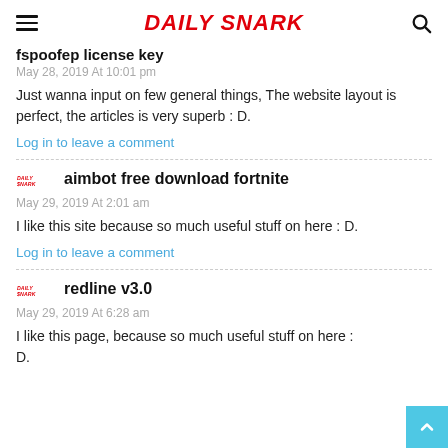DAILY SNARK
fspoofер license key
May 28, 2019 At 10:01 pm
Just wanna input on few general things, The website layout is perfect, the articles is very superb : D.
Log in to leave a comment
aimbot free download fortnite
May 29, 2019 At 2:01 am
I like this site because so much useful stuff on here : D.
Log in to leave a comment
redline v3.0
May 29, 2019 At 6:28 am
I like this page, because so much useful stuff on here : D.